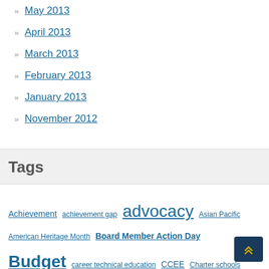» May 2013
» April 2013
» March 2013
» February 2013
» January 2013
» November 2012
Tags
Achievement  achievement gap  advocacy  Asian Pacific American Heritage Month  Board Member Action Day  Budget  career technical education  CCEE  Charter schools